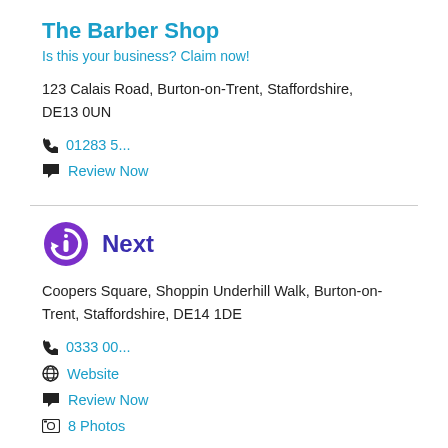The Barber Shop
Is this your business? Claim now!
123 Calais Road, Burton-on-Trent, Staffordshire, DE13 0UN
📞 01283 5...
💬 Review Now
Next
Coopers Square, Shoppin Underhill Walk, Burton-on-Trent, Staffordshire, DE14 1DE
📞 0333 00...
🌐 Website
💬 Review Now
📷 8 Photos